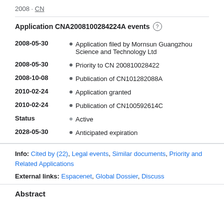2008 · CN
Application CNA2008100284224A events
2008-05-30 • Application filed by Mornsun Guangzhou Science and Technology Ltd
2008-05-30 • Priority to CN 200810028422
2008-10-08 • Publication of CN101282088A
2010-02-24 • Application granted
2010-02-24 • Publication of CN100592614C
Status • Active
2028-05-30 • Anticipated expiration
Info: Cited by (22), Legal events, Similar documents, Priority and Related Applications
External links: Espacenet, Global Dossier, Discuss
Abstract